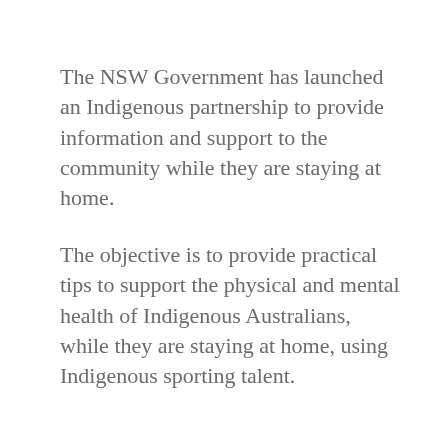The NSW Government has launched an Indigenous partnership to provide information and support to the community while they are staying at home.
The objective is to provide practical tips to support the physical and mental health of Indigenous Australians, while they are staying at home, using Indigenous sporting talent.